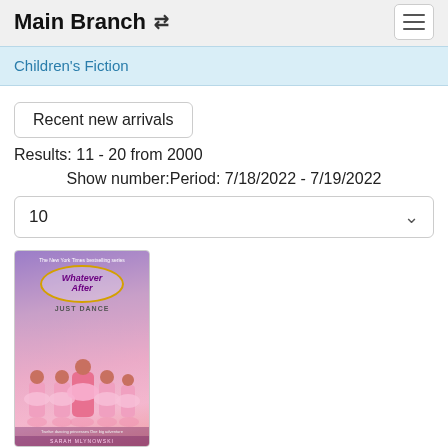Main Branch
Children's Fiction
Recent new arrivals
Results: 11 - 20 from 2000
Show number:Period: 7/18/2022 - 7/19/2022
10
[Figure (illustration): Book cover for 'Whatever After: Just Dance' by Sarah Mlynowski, showing illustrated ballerina girls in pink tutus]
Just dance